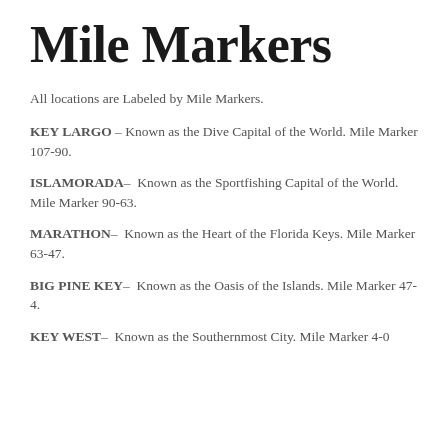Mile Markers
All locations are Labeled by Mile Markers.
KEY LARGO – Known as the Dive Capital of the World. Mile Marker 107-90.
ISLAMORADA–  Known as the Sportfishing Capital of the World. Mile Marker 90-63.
MARATHON–  Known as the Heart of the Florida Keys. Mile Marker 63-47.
BIG PINE KEY–  Known as the Oasis of the Islands. Mile Marker 47-4.
KEY WEST–  Known as the Southernmost City. Mile Marker 4-0